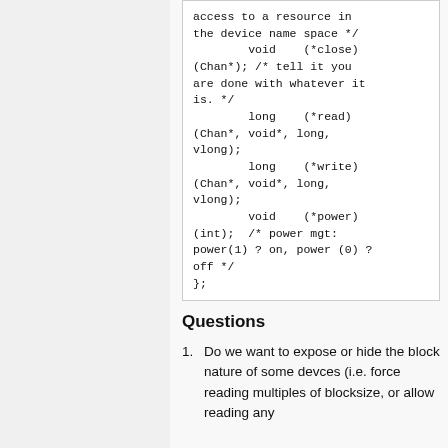[Figure (other): Code block showing C struct member declarations with void (*close)(Chan*), long (*read)(Chan*, void*, long, vlong), long (*write)(Chan*, void*, long, vlong), void (*power)(int) with comments, and closing };]
Questions
Do we want to expose or hide the block nature of some devces (i.e. force reading multiples of blocksize, or allow reading any